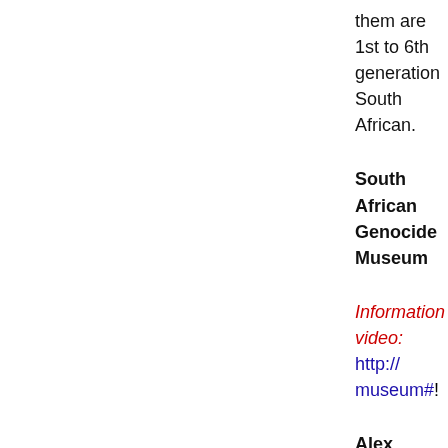them are 1st to 6th generation South African.
South African Genocide Museum
Information video: http://museum#!
Alex Jones